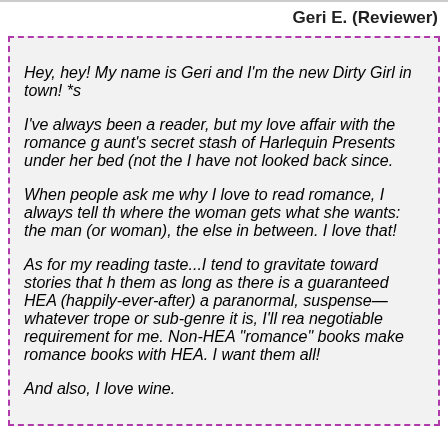Geri E. (Reviewer)
Hey, hey! My name is Geri and I'm the new Dirty Girl in town! *s

I've always been a reader, but my love affair with the romance g aunt's secret stash of Harlequin Presents under her bed (not the I have not looked back since.

When people ask me why I love to read romance, I always tell th where the woman gets what she wants: the man (or woman), the else in between. I love that!

As for my reading taste...I tend to gravitate toward stories that h them as long as there is a guaranteed HEA (happily-ever-after) a paranormal, suspense—whatever trope or sub-genre it is, I'll rea negotiable requirement for me. Non-HEA "romance" books make romance books with HEA. I want them all!

And also, I love wine.